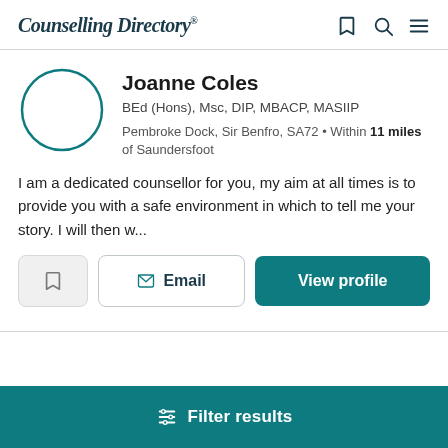Counselling Directory
[Figure (illustration): Circular teal-outlined avatar placeholder for counsellor Joanne Coles]
Joanne Coles
BEd (Hons), Msc, DIP, MBACP, MASIIP
Pembroke Dock, Sir Benfro, SA72 • Within 11 miles of Saundersfoot
I am a dedicated counsellor for you, my aim at all times is to provide you with a safe environment in which to tell me your story.  I will then w...
Filter results